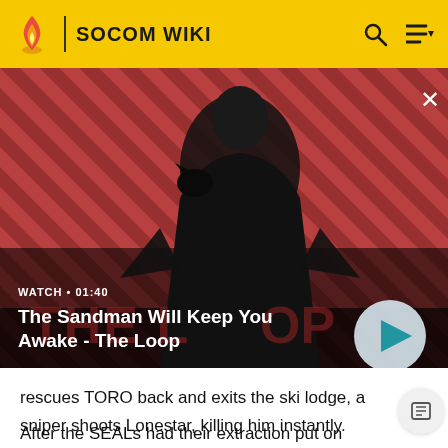SOCOM WIKI
[Figure (screenshot): Video thumbnail for 'The Sandman Will Keep You Awake - The Loop' showing a dark-clad figure with a raven on his shoulder against a red diagonal-striped background. Overlay shows WATCH • 01:40 label and a play button.]
rescues TORO back and exits the ski lodge, a sniper shoots Lonestar, killing him instantly.
After the SEALs had their extraction put on hold, WRAITH decides to infiltrate the KRA's communications center, a